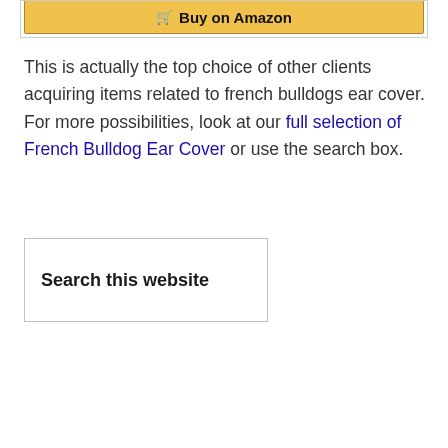[Figure (screenshot): Partial Amazon 'Buy on Amazon' button with yellow background, partially cropped at top of page]
This is actually the top choice of other clients acquiring items related to french bulldogs ear cover. For more possibilities, look at our full selection of French Bulldog Ear Cover or use the search box.
[Figure (screenshot): Search box widget with text 'Search this website' inside a bordered rectangle]